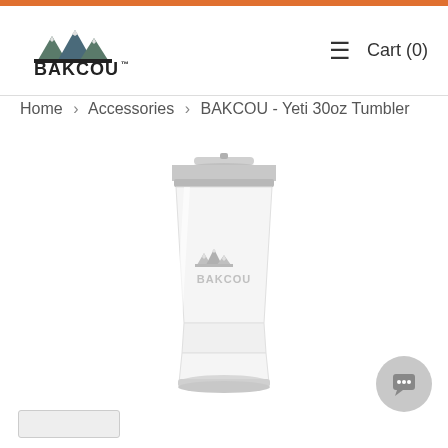BAKCOU™  ≡  Cart (0)
Home › Accessories › BAKCOU - Yeti 30oz Tumbler
[Figure (photo): White YETI 30oz Rambler Tumbler with BAKCOU logo engraved on the front, shown with a clear slide lid on a white background.]